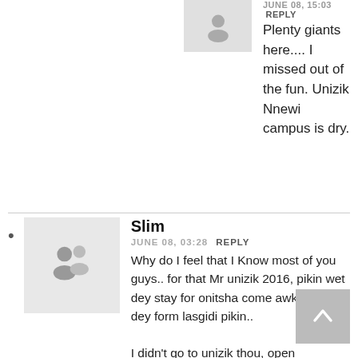[Figure (photo): Small grey avatar placeholder icon at top right, partially cut off]
JUNE 08, 15:03  REPLY
Plenty giants here.... I missed out of the fun. Unizik Nnewi campus is dry.
Slim
JUNE 08, 03:28  REPLY
Why do I feel that I Know most of you guys.. for that Mr unizik 2016, pikin wet dey stay for onitsha come awka come dey form lasgidi pikin..

I didn't go to unizik thou, open University but I stayed at temp site during the period..

Fed theatre, stecjecy, slam theatre, slimshaddy, johntel Peter's...

Chaii I miss awka thou, I didn't get m... to flirt very well before leaving that town, I didn't do my hoeing very well but I am still open to visit and travel...